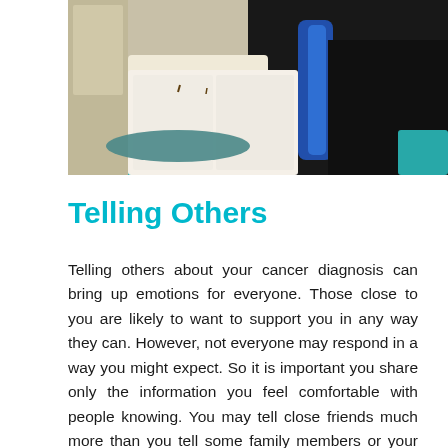[Figure (photo): A photo showing a fruit bowl with grapes, pears, and apples on a table, and a person in a dark jacket with a blue scarf sitting in the background on a sofa with teal cushions.]
Telling Others
Telling others about your cancer diagnosis can bring up emotions for everyone. Those close to you are likely to want to support you in any way they can. However, not everyone may respond in a way you might expect. So it is important you share only the information you feel comfortable with people knowing. You may tell close friends much more than you tell some family members or your work colleagues. This is okay and it is your choice. Not everyone needs to know